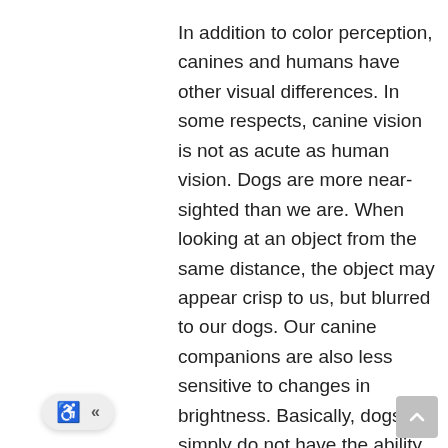In addition to color perception, canines and humans have other visual differences. In some respects, canine vision is not as acute as human vision. Dogs are more near-sighted than we are. When looking at an object from the same distance, the object may appear crisp to us, but blurred to our dogs. Our canine companions are also less sensitive to changes in brightness. Basically, dogs simply do not have the ability to perceive color in the rich, vibrant tones that we do.